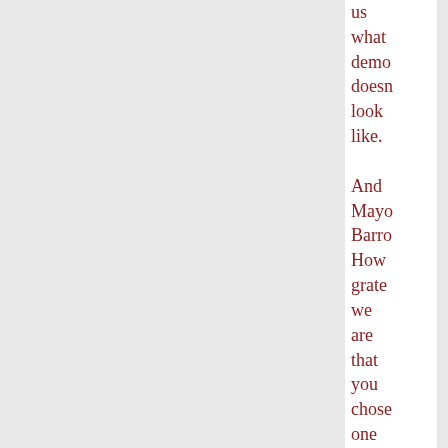us what democracy doesn't look like. And Mayor Barron, How grateful we are that you chose one low road after another in